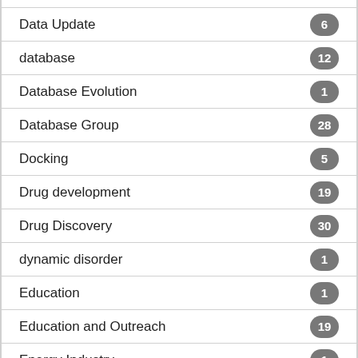Data Update
database
Database Evolution
Database Group
Docking
Drug development
Drug Discovery
dynamic disorder
Education
Education and Outreach
Energy Industry